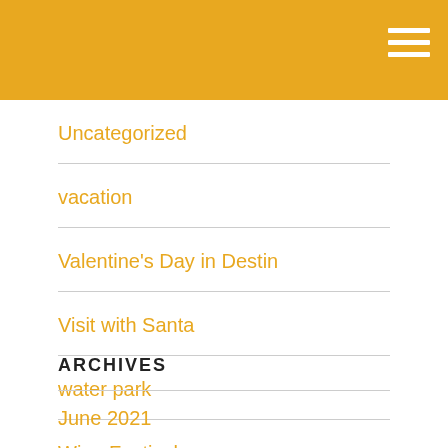Uncategorized
vacation
Valentine's Day in Destin
Visit with Santa
water park
Wine Festival
ARCHIVES
June 2021